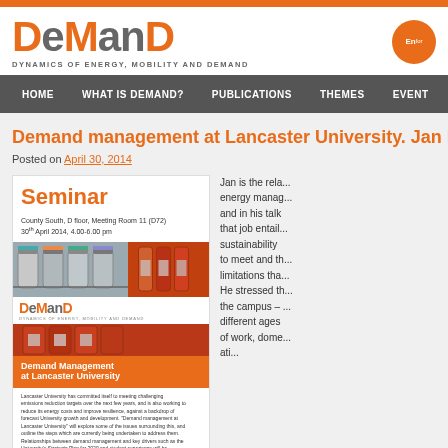DEMAND – DYNAMICS OF ENERGY, MOBILITY AND DEMAND
HOME | WHAT IS DEMAND? | PUBLICATIONS | THEMES | EVENTS
Demand management at Lancaster University. Jan Ba...
Posted on April 30, 2014
[Figure (illustration): Seminar flyer for 'Demand Management at Lancaster University' by Jan Bastiaans, Lancaster University Energy Manager, Facilities. Event at County South, D floor, Meeting Room 11 (D72), 30th April 2014, 4.00-6.00 pm. Includes DEMAND logo and photo of industrial cylinders/pipes.]
Jan is the rela... energy manag... and in his talk that job entail... sustainability to meet and th... limitations tha... He stressed th... the campus – different ages of work, dome... ati...